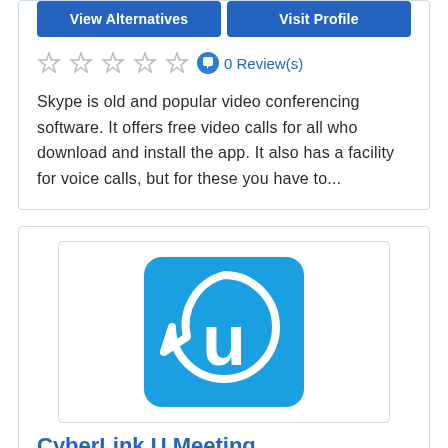[Figure (other): Two blue buttons: 'View Alternatives' and 'Visit Profile']
[Figure (other): Five empty star rating icons followed by a blue speech bubble icon and '0 Review(s)' text]
Skype is old and popular video conferencing software. It offers free video calls for all who download and install the app. It also has a facility for voice calls, but for these you have to...
[Figure (logo): CyberLink U Meeting logo: blue square with white speech bubble and U letter icon]
CyberLink U Meeting